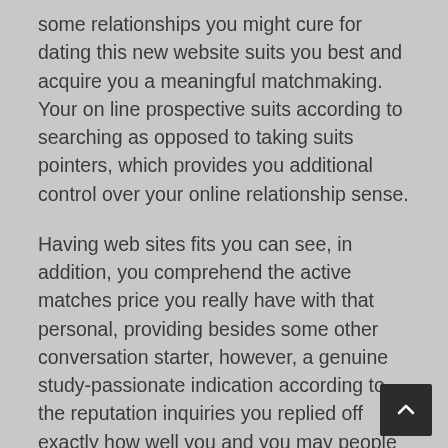some relationships you might cure for dating this new website suits you best and acquire you a meaningful matchmaking. Your on line prospective suits according to searching as opposed to taking suits pointers, which provides you additional control over your online relationship sense.
Having web sites fits you can see, in addition, you comprehend the active matches price you really have with that personal, providing besides some other conversation starter, however, a genuine study-passionate indication according to the reputation inquiries you replied off exactly how well you and you may people you notice on your serp's could possibly get meets. OKCupid have a fun, laid-back getting so you're able to they, and you may pages essentially adopt a similar feelings when interacting to the website, it is therefore a valid choices for some one interested in